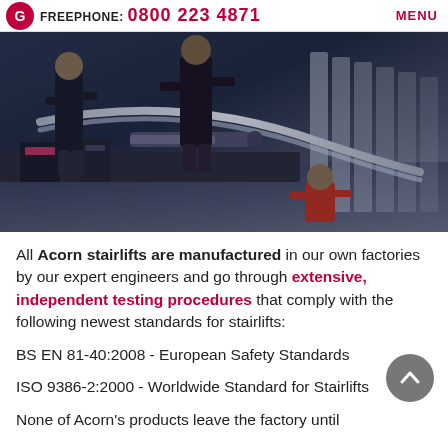FREEPHONE: 0800 223 4871   MENU
[Figure (photo): Workers in a factory manufacturing stairlift components, handling curved rail tracks and machinery]
All Acorn stairlifts are manufactured in our own factories by our expert engineers and go through extensive, independent testing procedures that comply with the following newest standards for stairlifts:
BS EN 81-40:2008 - European Safety Standards
ISO 9386-2:2000 - Worldwide Standard for Stairlifts
None of Acorn's products leave the factory until